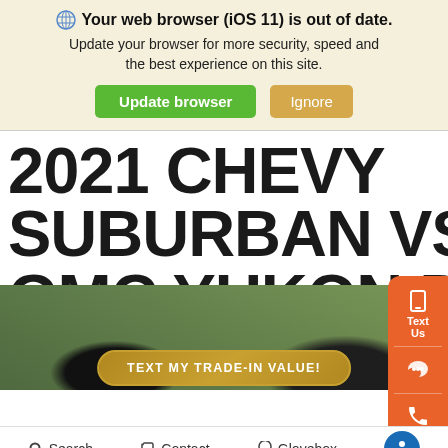🌐 Your web browser (iOS 11) is out of date. Update your browser for more security, speed and the best experience on this site. [Update browser] [Ignore]
2021 CHEVY SUBURBAN VS. 2021 GMC YUKON DENALI
[Figure (photo): Two large SUVs side by side in an outdoor setting with trees and landscape in background — appears to show a Chevy Suburban and GMC Yukon Denali comparison photo]
TEXT MY TRADE-IN VALUE!
Search   Contact   Glovebox   [Accessibility]